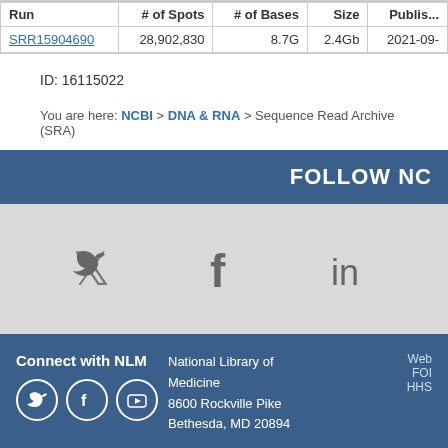| Run | # of Spots | # of Bases | Size | Published |
| --- | --- | --- | --- | --- |
| SRR15904690 | 28,902,830 | 8.7G | 2.4Gb | 2021-09-... |
ID: 16115022
You are here: NCBI > DNA & RNA > Sequence Read Archive (SRA)
FOLLOW NC
[Figure (infographic): Social media icons: Twitter bird, Facebook f, LinkedIn in — displayed on a light grey bar]
Connect with NLM | National Library of Medicine, 8600 Rockville Pike, Bethesda, MD 20894 | Web... FOI... HHS... NLM | NIH | HHS